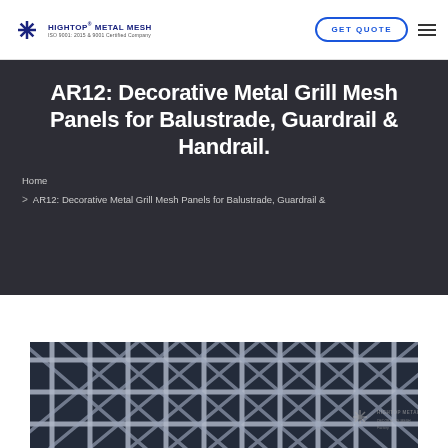HIGHTOP METAL MESH | ISO 9001:2015 & 9001 Certified Company | GET QUOTE
AR12: Decorative Metal Grill Mesh Panels for Balustrade, Guardrail & Handrail.
Home > AR12: Decorative Metal Grill Mesh Panels for Balustrade, Guardrail &
[Figure (photo): Close-up photo of a decorative metal grill mesh panel with woven/crimped wire pattern on a dark background, with Hightop Metal Mesh watermark logo in lower right corner.]